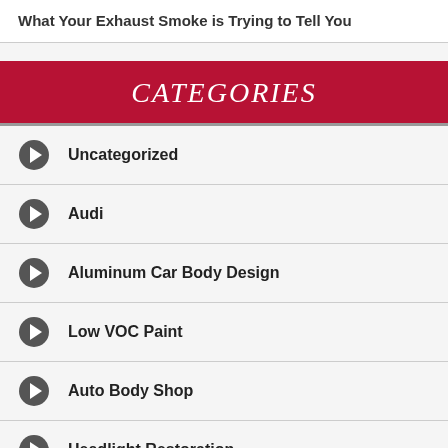What Your Exhaust Smoke is Trying to Tell You
CATEGORIES
Uncategorized
Audi
Aluminum Car Body Design
Low VOC Paint
Auto Body Shop
Headlight Restoration
Car Suspension